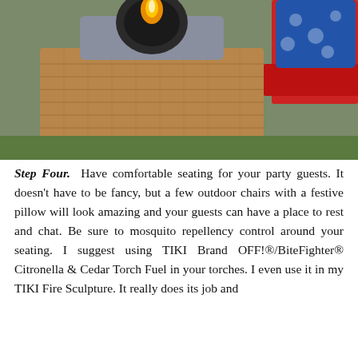[Figure (photo): Close-up photo of a wicker fire sculpture/table with a flame visible on top, and a red chair with a blue floral pillow in the background on grass.]
Step Four. Have comfortable seating for your party guests. It doesn't have to be fancy, but a few outdoor chairs with a festive pillow will look amazing and your guests can have a place to rest and chat. Be sure to mosquito repellency control around your seating. I suggest using TIKI Brand OFF!®/BiteFighter® Citronella & Cedar Torch Fuel in your torches. I even use it in my TIKI Fire Sculpture. It really does its job and